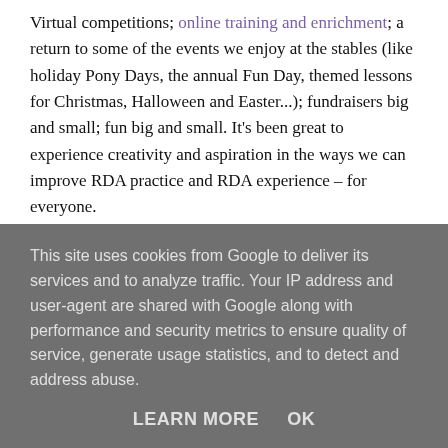Virtual competitions; online training and enrichment; a return to some of the events we enjoy at the stables (like holiday Pony Days, the annual Fun Day, themed lessons for Christmas, Halloween and Easter...); fundraisers big and small; fun big and small. It's been great to experience creativity and aspiration in the ways we can improve RDA practice and RDA experience – for everyone.
5. Introductions
This site uses cookies from Google to deliver its services and to analyze traffic. Your IP address and user-agent are shared with Google along with performance and security metrics to ensure quality of service, generate usage statistics, and to detect and address abuse.
LEARN MORE   OK